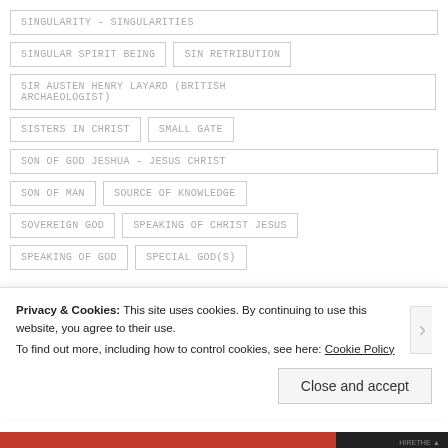SINGULARITY - SINGULARITIES
SINGULAR SPIRIT BEING
SIN RETRIBUTION
SIR AUSTEN HENRY LAYARD (BRITISH ARCHAEOLOGIST)
SISTERS IN CHRIST
SMALL GATE
SON OF GOD JESHUA - JESUS CHRIST
SON OF MAN
SOURCE OF KNOWLEDGE
SOVEREIGN GOD
SPEAKING OF CHRIST JESUS
SPEAKING OF GOD
SPECIAL GOD(S)
Privacy & Cookies: This site uses cookies. By continuing to use this website, you agree to their use. To find out more, including how to control cookies, see here: Cookie Policy
Close and accept